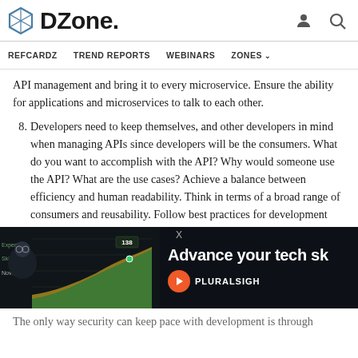DZone
REFCARDZ   TREND REPORTS   WEBINARS   ZONES
API management and bring it to every microservice. Ensure the ability for applications and microservices to talk to each other.
8. Developers need to keep themselves, and other developers in mind when managing APIs since developers will be the consumers. What do you want to accomplish with the API? Why would someone use the API? What are the use cases? Achieve a balance between efficiency and human readability. Think in terms of a broad range of consumers and reusability. Follow best practices for development including excellent documentation, understandable error messages, and predictable and consistent output and performance. Ensure consistency throughout the API ecosystem so consumers will feel like they're using a consistent
[Figure (photo): Advertisement banner for Pluralsight showing a person with glasses and a dark-themed tech skills chart with the text 'Advance your tech sk...' and the Pluralsight logo]
The only way security can keep pace with development is through